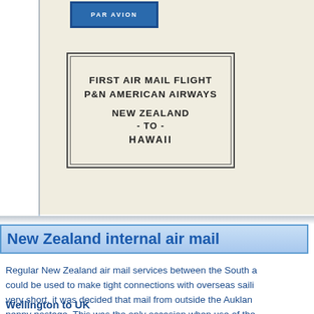[Figure (photo): Photograph of an envelope with a stamped cachet reading 'FIRST AIR MAIL FLIGHT PAN AMERICAN AIRWAYS NEW ZEALAND - TO - HAWAII'. A blue airmail stamp/label is visible at the top. The envelope has a cream/off-white color.]
New Zealand internal air mail
Regular New Zealand air mail services between the South a... could be used to make tight connections with overseas saili... very short, it was decided that mail from outside the Auklan... penny postage. This was the only occasion when use of the...
Wellington to UK